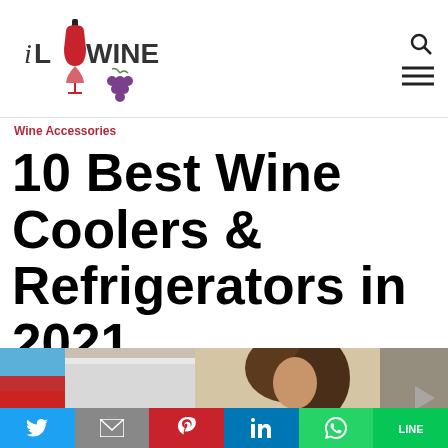iLOVEWINE logo with navigation icons
Wine Accessories
10 Best Wine Coolers & Refrigerators in 2021
[Figure (photo): Woman looking at wine coolers/refrigerators in a store]
[Figure (infographic): Social sharing bar with Twitter, Gmail, Pinterest, LinkedIn, WhatsApp, LINE buttons]